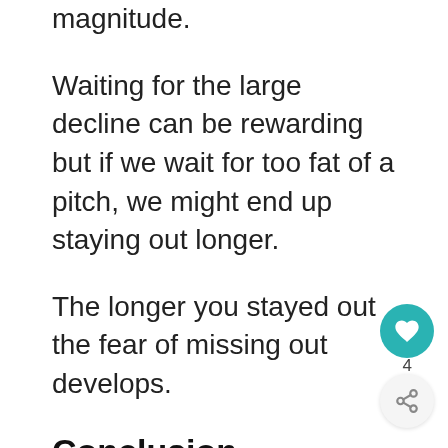resulted in a decline with a greater than 20% magnitude.
Waiting for the large decline can be rewarding but if we wait for too fat of a pitch, we might end up staying out longer.
The longer you stayed out the fear of missing out develops.
Conclusion
If the market goes up, we can ignore the market noise and just invest. However, all of us are made up differently.